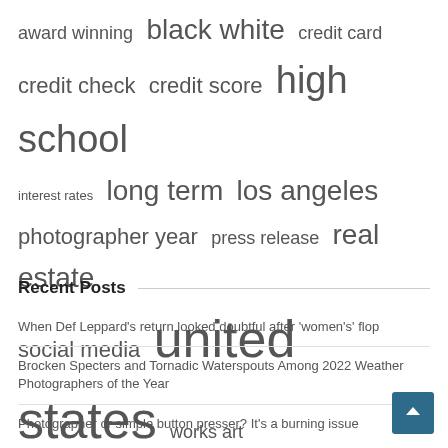[Figure (infographic): Tag cloud with terms of varying font sizes: award winning, black white, credit card, credit check, credit score, high school, interest rates, long term, los angeles, photographer year, press release, real estate, social media, united states, works art, york city]
Recent Posts
When Def Leppard's return looked doubtful after 'women's' flop
Brocken Specters and Tornadic Waterspouts Among 2022 Weather Photographers of the Year
Photographer or simple button presser? It's a burning issue